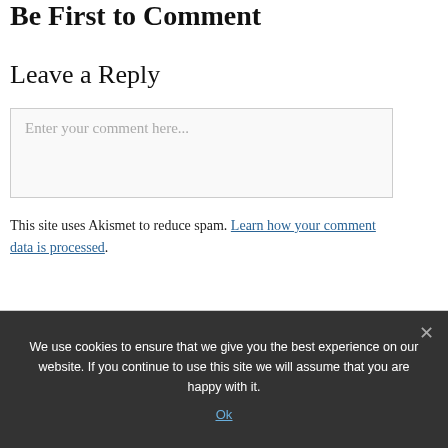Be First to Comment
Leave a Reply
Enter your comment here...
This site uses Akismet to reduce spam. Learn how your comment data is processed.
We use cookies to ensure that we give you the best experience on our website. If you continue to use this site we will assume that you are happy with it.
Ok